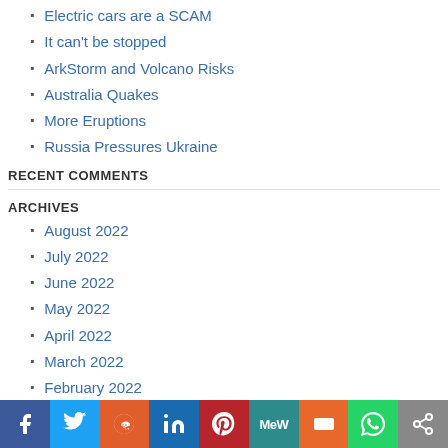Electric cars are a SCAM
It can't be stopped
ArkStorm and Volcano Risks
Australia Quakes
More Eruptions
Russia Pressures Ukraine
RECENT COMMENTS
ARCHIVES
August 2022
July 2022
June 2022
May 2022
April 2022
March 2022
February 2022
January 2022
December 2021
November 2021